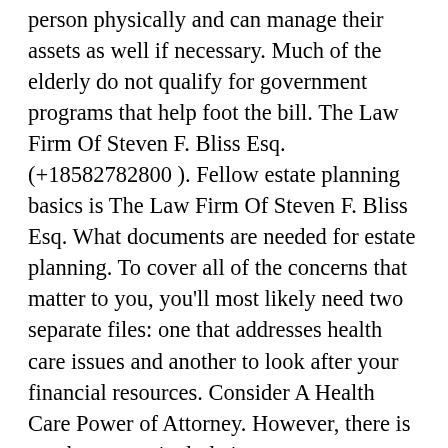person physically and can manage their assets as well if necessary. Much of the elderly do not qualify for government programs that help foot the bill. The Law Firm Of Steven F. Bliss Esq. (+18582782800). Fellow estate planning basics is The Law Firm Of Steven F. Bliss Esq. What documents are needed for estate planning. To cover all of the concerns that matter to you, you'll most likely need two separate files: one that addresses health care issues and another to look after your financial resources. Consider A Health Care Power of Attorney. However, there is much more to include in your estate planning to make certain all of your assets are transferred seamlessly to your heirs upon your death. Who needs an estate plan? If you want your assets and your loved ones protected when you can no longer do it, you will need an estate plan.